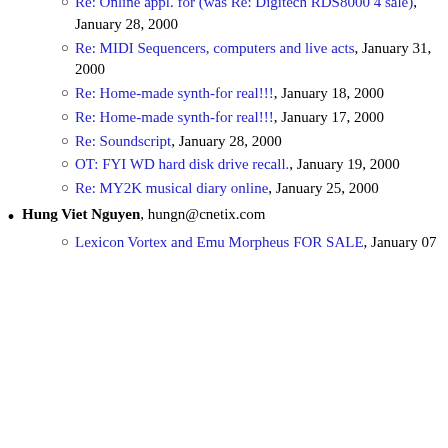Re: Online appl. for (was Re: Digitech RDS8000 4 sale), January 28, 2000
Re: MIDI Sequencers, computers and live acts, January 31, 2000
Re: Home-made synth- for real!!!, January 18, 2000
Re: Home-made synth- for real!!!, January 17, 2000
Re: Soundscript, January 28, 2000
OT: FYI WD hard disk drive recall., January 19, 2000
Re: MY2K musical diary online, January 25, 2000
Hung Viet Nguyen, hungn@cnetix.com
Lexicon Vortex and Emu Morpheus FOR SALE, January 07